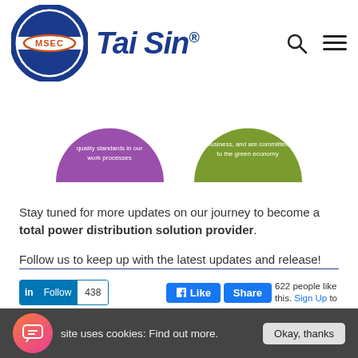[Figure (logo): MSEC Tai Sin logo with circular emblem and italic blue brand text with registered trademark symbol]
[Figure (illustration): Two half-circle shapes: one purple with text about quality standards in work processes, one olive/green with text about business and committed to the green economy]
Stay tuned for more updates on our journey to become a total power distribution solution provider. Follow us to keep up with the latest updates and release!
[Figure (screenshot): LinkedIn Follow button showing 438 followers, Facebook Like and Share buttons, 622 people like this. Sign Up to]
[Figure (screenshot): Cookie consent banner: site uses cookies: Find out more. Okay, thanks button. Orange chat bubble icon on left.]